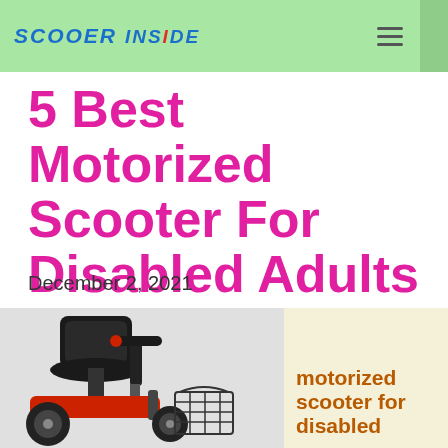SCOOTER INSIDE
5 Best Motorized Scooter For Disabled Adults
December 2, 2021
[Figure (photo): A red motorized mobility scooter with black seat, handlebar controls, and front basket]
[Figure (illustration): Cream/beige info card with orange bold text reading 'motorized scooter for disabled']